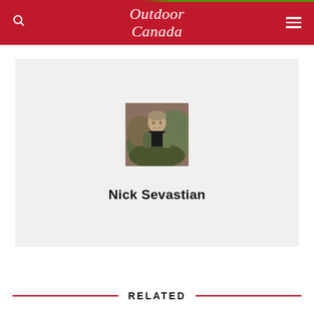Outdoor Canada
[Figure (photo): Profile photo of Nick Sevastian wearing camouflage clothing, outdoors]
Nick Sevastian
RELATED